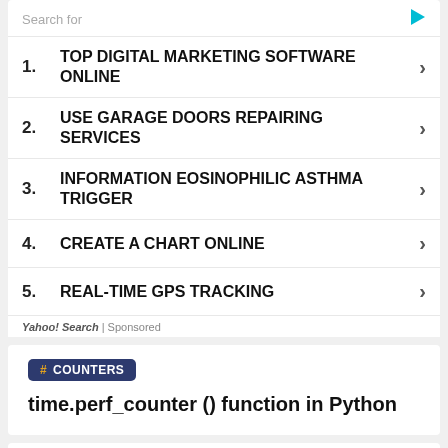Search for
1. TOP DIGITAL MARKETING SOFTWARE ONLINE
2. USE GARAGE DOORS REPAIRING SERVICES
3. INFORMATION EOSINOPHILIC ASTHMA TRIGGER
4. CREATE A CHART ONLINE
5. REAL-TIME GPS TRACKING
Yahoo! Search | Sponsored
# COUNTERS
time.perf_counter () function in Python
# DICT